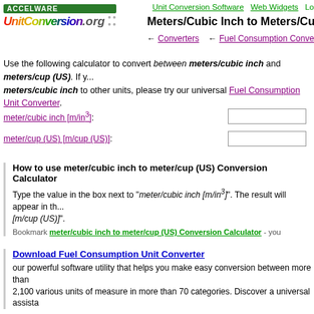ACCELWARE UnitConversion.org | Unit Conversion Software  Web Widgets  Lo...
Meters/Cubic Inch to Meters/Cup (
← Converters  ← Fuel Consumption Conver...
Use the following calculator to convert between meters/cubic inch and meters/cup (US). If y... meters/cubic inch to other units, please try our universal Fuel Consumption Unit Converter.
meter/cubic inch [m/in³]:
meter/cup (US) [m/cup (US)]:
How to use meter/cubic inch to meter/cup (US) Conversion Calculator
Type the value in the box next to "meter/cubic inch [m/in³]". The result will appear in th... [m/cup (US)]".
Bookmark meter/cubic inch to meter/cup (US) Conversion Calculator - you...
Download Fuel Consumption Unit Converter
our powerful software utility that helps you make easy conversion between more than 2,100 various units of measure in more than 70 categories. Discover a universal assista...